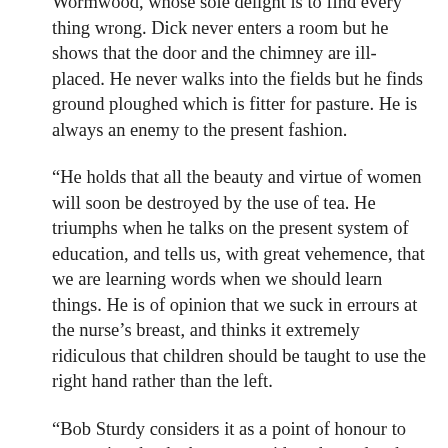Wormwood, whose sole delight is to find every thing wrong. Dick never enters a room but he shows that the door and the chimney are ill-placed. He never walks into the fields but he finds ground ploughed which is fitter for pasture. He is always an enemy to the present fashion.
“He holds that all the beauty and virtue of women will soon be destroyed by the use of tea. He triumphs when he talks on the present system of education, and tells us, with great vehemence, that we are learning words when we should learn things. He is of opinion that we suck in errours at the nurse’s breast, and thinks it extremely ridiculous that children should be taught to use the right hand rather than the left.
“Bob Sturdy considers it as a point of honour to say again what he has once said, and wonders how any man, that has been known to alter his opinion, can look his neighbours in the face. Bob is the most formidable disputant of the whole company; for, without troubling himself to search for